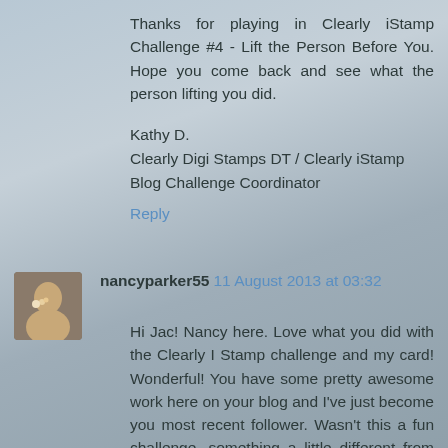Thanks for playing in Clearly iStamp Challenge #4 - Lift the Person Before You. Hope you come back and see what the person lifting you did.
Kathy D.
Clearly Digi Stamps DT / Clearly iStamp Blog Challenge Coordinator
Reply
nancyparker55 11 August 2013 at 03:32
Hi Jac! Nancy here. Love what you did with the Clearly I Stamp challenge and my card! Wonderful! You have some pretty awesome work here on your blog and I've just become you most recent follower. Wasn't this a fun challenge, something a little different from the norm. Anyway blessings on your day and hugs from Canada coming your way.
Reply